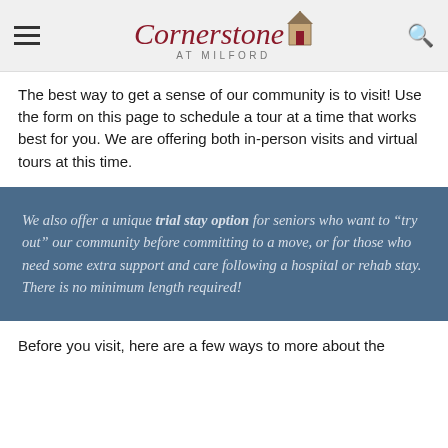Cornerstone AT MILFORD
The best way to get a sense of our community is to visit! Use the form on this page to schedule a tour at a time that works best for you. We are offering both in-person visits and virtual tours at this time.
We also offer a unique trial stay option for seniors who want to “try out” our community before committing to a move, or for those who need some extra support and care following a hospital or rehab stay. There is no minimum length required!
Before you visit, here are a few ways to more about the